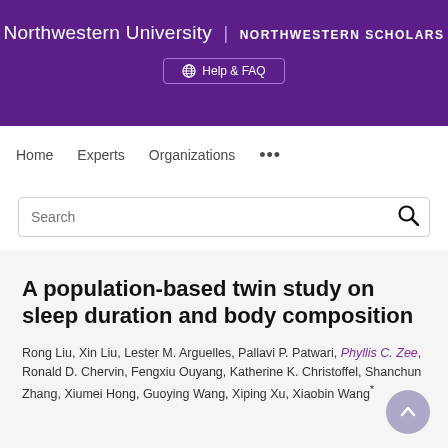Northwestern University | NORTHWESTERN SCHOLARS
Help & FAQ
Home   Experts   Organizations   ...
Search
A population-based twin study on sleep duration and body composition
Rong Liu, Xin Liu, Lester M. Arguelles, Pallavi P. Patwari, Phyllis C. Zee, Ronald D. Chervin, Fengxiu Ouyang, Katherine K. Christoffel, Shanchun Zhang, Xiumei Hong, Guoying Wang, Xiping Xu, Xiaobin Wang*